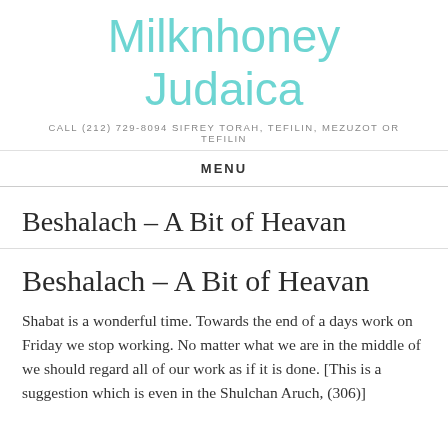Milknhoney Judaica
CALL (212) 729-8094 SIFREY TORAH, TEFILIN, MEZUZOT OR TEFILIN
MENU
Beshalach – A Bit of Heavan
Beshalach – A Bit of Heavan
Shabat is a wonderful time. Towards the end of a days work on Friday we stop working. No matter what we are in the middle of we should regard all of our work as if it is done. [This is a suggestion which is even in the Shulchan Aruch, (306)]